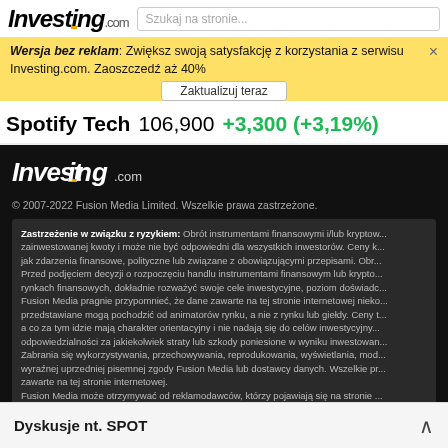Investing.com  [search box: Szukaj na stronie...]
Wersja bez reklam. Zwiększ swoją satysfakcję z korzystania z serwisu Investing.com. Zaoszczedź aż 40%  X  Zaktualizuj teraz
Spotify Tech  106,900  +3,300 (+3,19%)
[Figure (logo): Investing.com logo in white on black background]
© 2007-2022 Fusion Media Limited. Wszelkie prawa zastrzeżone.
Zastrzeżenie w związku z ryzykiem: Obrót instrumentami finansowymi i/lub kryptow... zainwestowanej kwoty i może nie być odpowiedni dla wszystkich inwestorów. Ceny k... jak zdarzenia finansowe, polityczne lub związane z obowiązującymi przepisami. Obr... Przed podjęciem decyzji o rozpoczęciu handlu instrumentami finansowym lub krypto... rynkach finansowych, dokładnie rozważyć swoje cele inwestycyjne, poziom doświadc... Fusion Media pragnie przypomnieć, że dane zawarte na tej stronie internetowej nieko... przedstawiane mogą pochodzić od animatorów rynku, a nie z rynku lub giełdy. Ceny t... a co za tym idzie mają charakter orientacyjny i nie nadają się do celów inwestycyjny... odpowiedzialności za jakiekolwiek straty lub szkody poniesione w wyniku inwestowan... Zabrania się wykorzystywania, przechowywania, reprodukowania, wyświetlania, mod... wyraźnej uprzedniej pisemnej zgody Fusion Media lub dostawcy danych. Wszelkie pr... zawarte na tej stronie internetowej. Fusion Media może otrzymywać od reklamodawców, którzy pojawiają się na stronie ... Angielska wersja tego zastrzeżenia jest wersją główną i obowiązuje zawsze, gdy istr...
Dyskusje nt. SPOT